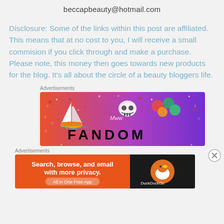beccapbeauty@hotmail.com
Disclosure: Some of the links within this post are affiliated. This means that at no cost to you, I will receive a small commision if you click through and make a purchase. Please note, this money then goes towards new products for the blog. It’s all about the circle of a beauty bloggers life.
Advertisements
[Figure (illustration): Fandom advertisement banner with gradient orange-to-purple background, stickers of a sailboat, skull, and decorative elements, with large bold text reading FANDOM]
Advertisements
[Figure (illustration): DuckDuckGo advertisement banner with orange background: 'Search, browse, and email with more privacy. All in One Free App' with DuckDuckGo logo on the right]